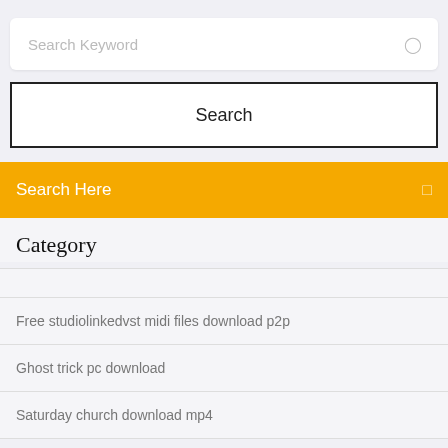Search Keyword
Search
Search Here
Category
Free studiolinkedvst midi files download p2p
Ghost trick pc download
Saturday church download mp4